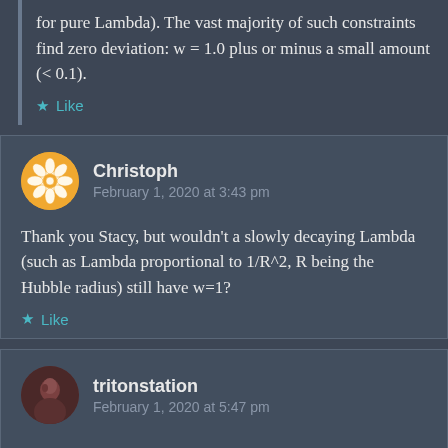for pure Lambda). The vast majority of such constraints find zero deviation: w = 1.0 plus or minus a small amount (< 0.1).
★ Like
Christoph
February 1, 2020 at 3:43 pm
Thank you Stacy, but wouldn't a slowly decaying Lambda (such as Lambda proportional to 1/R^2, R being the Hubble radius) still have w=1?
★ Like
tritonstation
February 1, 2020 at 5:47 pm